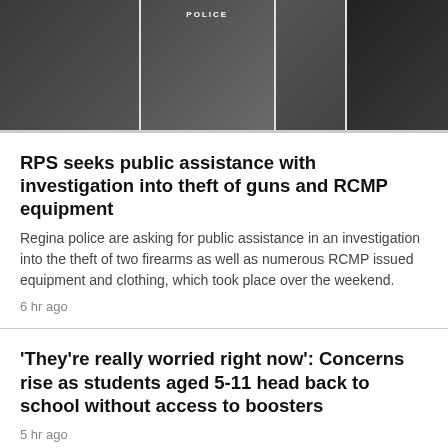[Figure (photo): Three-panel photo showing police/RCMP uniforms and equipment: left panel shows firefighter-style pants with yellow stripes, center panel shows a dark jacket with POLICE text visible and tactical gear laid out, right panel shows tactical leg armor pieces on the left and dark pants/clothing on the right.]
RPS seeks public assistance with investigation into theft of guns and RCMP equipment
Regina police are asking for public assistance in an investigation into the theft of two firearms as well as numerous RCMP issued equipment and clothing, which took place over the weekend.
6 hr ago
'They're really worried right now': Concerns rise as students aged 5-11 head back to school without access to boosters
5 hr ago
Regina Transit expands service into east end,